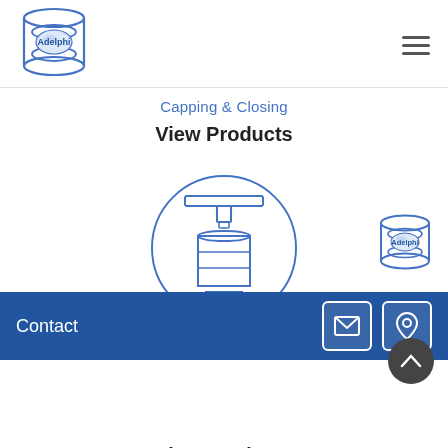[Figure (logo): Adelphi logo — blue cylindrical/ring shape with 'Adelphi' text inside]
Capping & Closing
View Products
[Figure (illustration): Circle icon showing a capping/pressing machine pressing down onto a cylindrical container — line art in blue]
[Figure (logo): Small Adelphi logo at bottom right of main area]
Contact
View Products